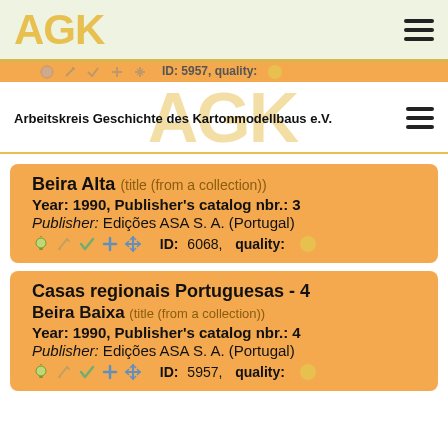AGK
ID: 5957,  quality: (partial row, cut off)
Arbeitskreis Geschichte des Kartonmodellbaus e.V.
Beira Alta (title (from a collection))
Year: 1990, Publisher's catalog nbr.: 3
Publisher: Edições ASA S. A. (Portugal)
ID: 6068,  quality:
Casas regionais Portuguesas - 4 Beira Baixa (title (from a collection))
Year: 1990, Publisher's catalog nbr.: 4
Publisher: Edições ASA S. A. (Portugal)
ID: 5957,  quality: